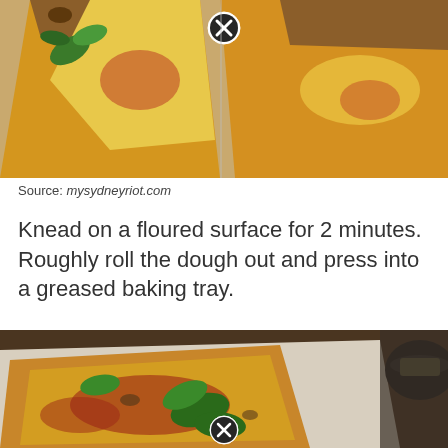[Figure (photo): Overhead view of pizza slices with basil leaves on a wooden board, with a close X button overlay]
Source: mysydneyriot.com
Knead on a floured surface for 2 minutes. Roughly roll the dough out and press into a greased baking tray.
[Figure (photo): Close-up of pizza slices with basil leaves, cheese, and toppings on parchment paper, with a close X button overlay]